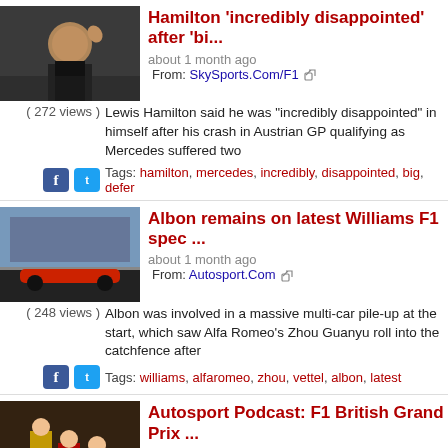[Figure (photo): Thumbnail photo of Lewis Hamilton waving]
Hamilton 'incredibly disappointed' after 'bi...
about 1 month ago
From: SkySports.Com/F1
( 272 views ) Lewis Hamilton said he was "incredibly disappointed" in himself after his crash in Austrian GP qualifying as Mercedes suffered two
Tags: hamilton, mercedes, incredibly, disappointed, big, defer
[Figure (photo): Thumbnail photo of Williams F1 car on track]
Albon remains on latest Williams F1 spec ...
about 1 month ago
From: Autosport.Com
( 248 views ) Albon was involved in a massive multi-car pile-up at the start, which saw Alfa Romeo's Zhou Guanyu roll into the catchfence after
Tags: williams, alfaromeo, zhou, vettel, albon, latest
[Figure (photo): Thumbnail photo of F1 British Grand Prix podium]
Autosport Podcast: F1 British Grand Prix ...
about 1 month ago
From: Autosport.Com
( 129 views ) The Ferrari driver clinched his first F1 victory in his 150th grand prix start, taking advantage of a late safety car to pit for soft tyres
Tags: ferrari, verstappen, alphatauri, autosport, podcast, britis
[Figure (photo): Thumbnail photo of Verstappen's car]
Verstappen damage like a shark attack - H...
about 1 month ago
From: GPfans.Com